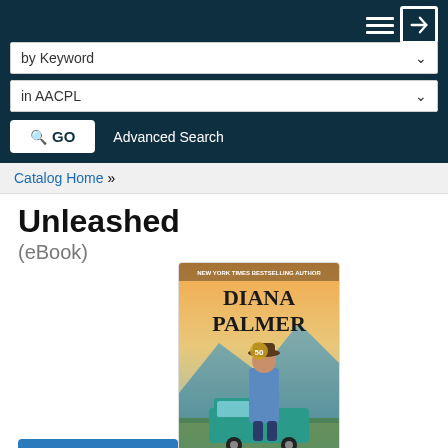by Keyword | in AACPL | GO | Advanced Search
Catalog Home »
Unleashed
(eBook)
[Figure (illustration): Book cover for 'Unleashed' by Diana Palmer. Shows a cowboy man in a blue denim shirt leaning against a teal truck with mountains and sunset in the background. Text reads 'NEW YORK TIMES BESTSELLING AUTHOR DIANA PALMER' with '50' badge.]
Chat With Us